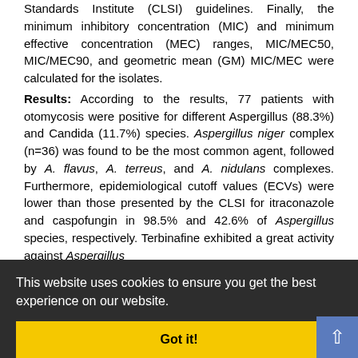Standards Institute (CLSI) guidelines. Finally, the minimum inhibitory concentration (MIC) and minimum effective concentration (MEC) ranges, MIC/MEC50, MIC/MEC90, and geometric mean (GM) MIC/MEC were calculated for the isolates.
Results: According to the results, 77 patients with otomycosis were positive for different Aspergillus (88.3%) and Candida (11.7%) species. Aspergillus niger complex (n=36) was found to be the most common agent, followed by A. flavus, A. terreus, and A. nidulans complexes. Furthermore, epidemiological cutoff values (ECVs) were lower than those presented by the CLSI for itraconazole and caspofungin in 98.5% and 42.6% of Aspergillus species, respectively. Terbinafine exhibited a great activity against Aspergillus species, while fluconazole revealed a low activity against both Aspergillus species. Based on the results, 77.8% of Candida isolates within the MIC range. However, miconazole achieved miconazole minimum inhibitory ranges.
Conclusion: Aspergillus niger and A. flavus complexes were identified as the most common agents accounting for 85.7% of the isolates. In addition, terbinafine was identified as the best antifungal for both Aspergillus and Candida species.
This website uses cookies to ensure you get the best experience on our website.